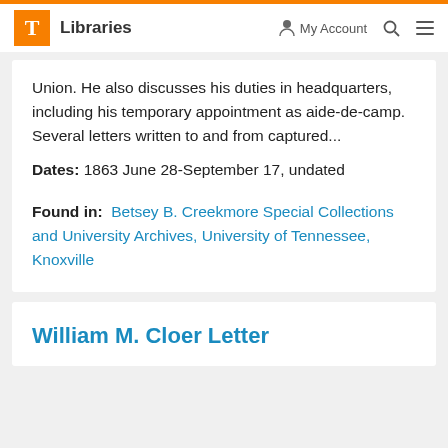T Libraries   My Account   Search   Menu
Union. He also discusses his duties in headquarters, including his temporary appointment as aide-de-camp. Several letters written to and from captured...
Dates: 1863 June 28-September 17, undated
Found in: Betsey B. Creekmore Special Collections and University Archives, University of Tennessee, Knoxville
William M. Cloer Letter